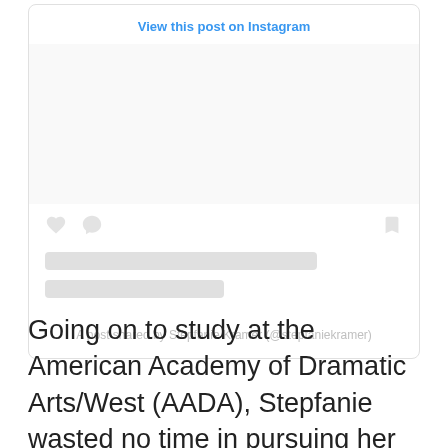[Figure (screenshot): Instagram embed widget showing 'View this post on Instagram' link, placeholder image area, action icons (heart, comment, bookmark), loading text lines, and attribution 'A post shared by Stepfanie Kramer (@stepfaniekramer)']
Going on to study at the American Academy of Dramatic Arts/West (AADA), Stepfanie wasted no time in pursuing her acting dreams.